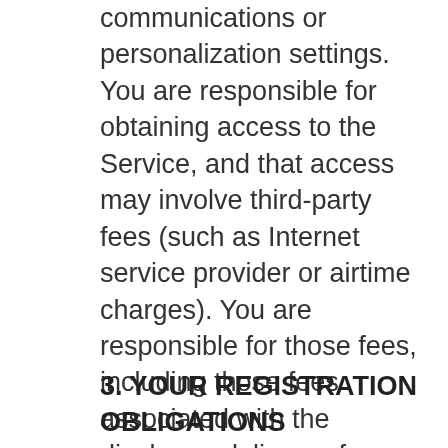communications or personalization settings. You are responsible for obtaining access to the Service, and that access may involve third-party fees (such as Internet service provider or airtime charges). You are responsible for those fees, including those fees associated with the display or delivery of advertisements. In addition, you must provide and are responsible for all equipment necessary to access the Service.
3. YOUR REGISTRATION OBLIGATIONS